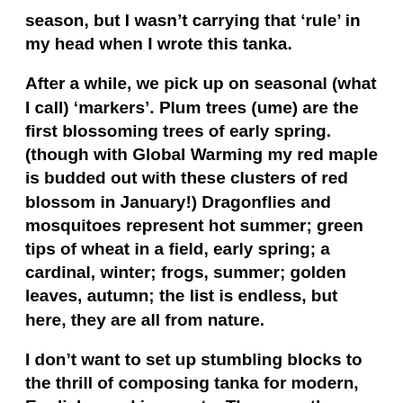season, but I wasn't carrying that 'rule' in my head when I wrote this tanka.
After a while, we pick up on seasonal (what I call) 'markers'. Plum trees (ume) are the first blossoming trees of early spring. (though with Global Warming my red maple is budded out with these clusters of red blossom in January!) Dragonflies and mosquitoes represent hot summer; green tips of wheat in a field, early spring; a cardinal, winter; frogs, summer; golden leaves, autumn; the list is endless, but here, they are all from nature.
I don't want to set up stumbling blocks to the thrill of composing tanka for modern, English speaking poets. These are the forms that many learn in the beginning, and perhaps later discard. But it's good to learn them